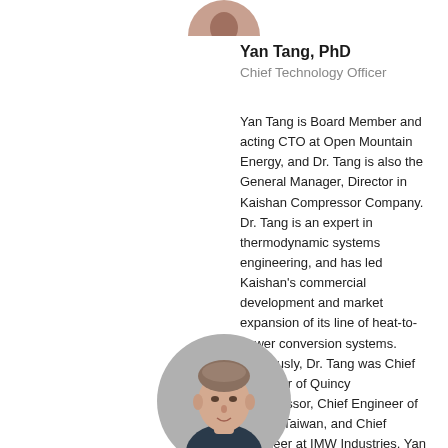[Figure (photo): Partial circular profile photo of Yan Tang at top of page]
Yan Tang, PhD
Chief Technology Officer
Yan Tang is Board Member and acting CTO at Open Mountain Energy, and Dr. Tang is also the General Manager, Director in Kaishan Compressor Company. Dr. Tang is an expert in thermodynamic systems engineering, and has led Kaishan's commercial development and market expansion of its line of heat-to-power conversion systems. Previously, Dr. Tang was Chief Engineer of Quincy Compressor, Chief Engineer of Carrier Taiwan, and Chief Engineer at IMW Industries. Yan Tang received Bachelor and Master degrees in engineering from Xi'an Jiaotong University and a PhD in Mechanical Engineering from the University of Strathclyde.
[Figure (photo): Circular profile photo of a man with short brown hair, partially cropped at bottom of page]